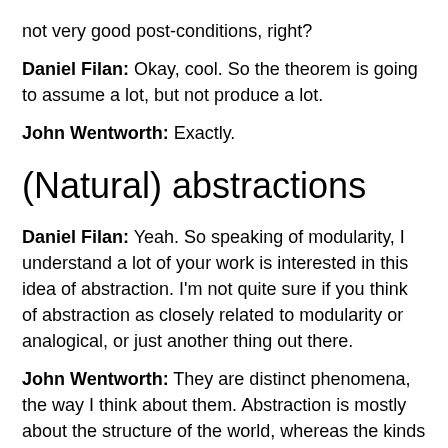not very good post-conditions, right?
Daniel Filan: Okay, cool. So the theorem is going to assume a lot, but not produce a lot.
John Wentworth: Exactly.
(Natural) abstractions
Daniel Filan: Yeah. So speaking of modularity, I understand a lot of your work is interested in this idea of abstraction. I'm not quite sure if you think of abstraction as closely related to modularity or analogical, or just another thing out there.
John Wentworth: They are distinct phenomena, the way I think about them. Abstraction is mostly about the structure of the world, whereas the kinds of modularity I'm talking about in the context of selection theorems is mostly about the internal structure of these systems under selection